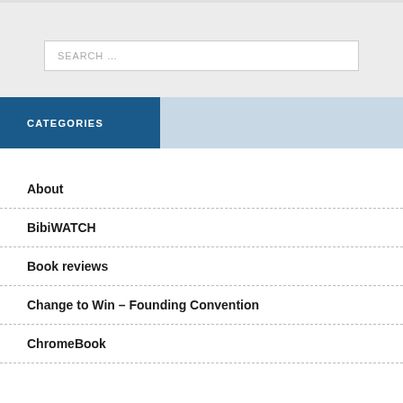[Figure (screenshot): Search input box with placeholder text 'SEARCH ...' on a light grey background]
CATEGORIES
About
BibiWATCH
Book reviews
Change to Win – Founding Convention
ChromeBook